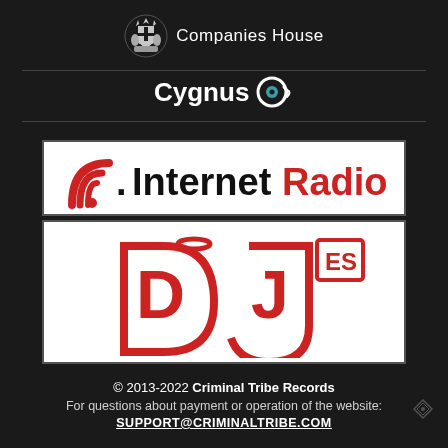[Figure (logo): Companies House government crest logo with crown emblem and text 'Companies House']
[Figure (logo): Cygnus logo with stylized eye/camera icon in teal]
[Figure (logo): Internet Radio logo with red wifi arc icon and black/red text '.InternetRadio']
[Figure (logo): DJ Mag ES logo with large red outlined 'DJ' letters and small 'es' superscript]
© 2013-2022 Criminal Tribe Records
For questions about payment or operation of the website:
SUPPORT@CRIMINALTRIBE.COM